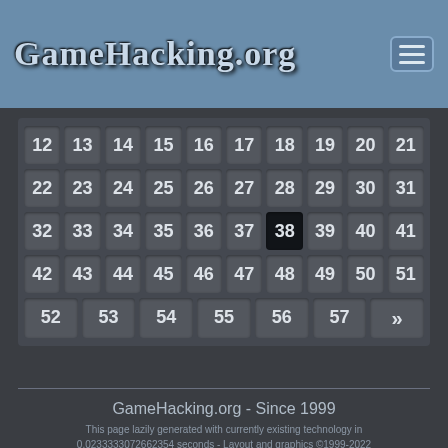[Figure (screenshot): GameHacking.org website header with logo text and hamburger menu button on a steel blue background]
| 12 | 13 | 14 | 15 | 16 | 17 | 18 | 19 | 20 | 21 |
| 22 | 23 | 24 | 25 | 26 | 27 | 28 | 29 | 30 | 31 |
| 32 | 33 | 34 | 35 | 36 | 37 | 38 | 39 | 40 | 41 |
| 42 | 43 | 44 | 45 | 46 | 47 | 48 | 49 | 50 | 51 |
| 52 | 53 | 54 | 55 | 56 | 57 | » |  |  |  |
GameHacking.org - Since 1999
This page lazily generated with currently existing technology in 0.0233333072662354 seconds - Layout and graphics ©1999-2022 GameHacking.org